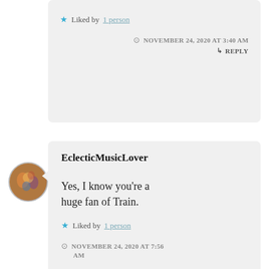Liked by 1 person
NOVEMBER 24, 2020 AT 3:40 AM
REPLY
EclecticMusicLover
Yes, I know you're a huge fan of Train.
Liked by 1 person
NOVEMBER 24, 2020 AT 7:56 AM